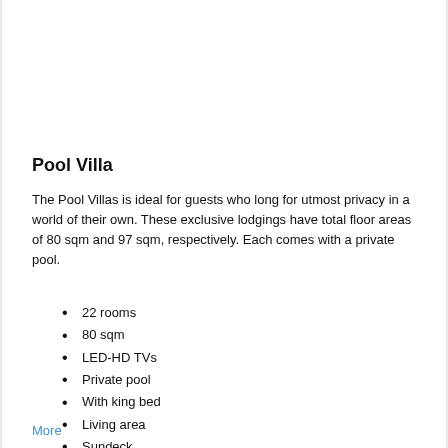Pool Villa
The Pool Villas is ideal for guests who long for utmost privacy in a world of their own. These exclusive lodgings have total floor areas of 80 sqm and 97 sqm, respectively. Each comes with a private pool.
22 rooms
80 sqm
LED-HD TVs
Private pool
With king bed
Living area
Sundeck
Microwave
More